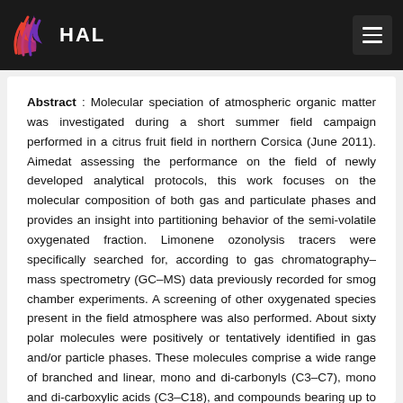HAL
Abstract : Molecular speciation of atmospheric organic matter was investigated during a short summer field campaign performed in a citrus fruit field in northern Corsica (June 2011). Aimedat assessing the performance on the field of newly developed analytical protocols, this work focuses on the molecular composition of both gas and particulate phases and provides an insight into partitioning behavior of the semi-volatile oxygenated fraction. Limonene ozonolysis tracers were specifically searched for, according to gas chromatography–mass spectrometry (GC–MS) data previously recorded for smog chamber experiments. A screening of other oxygenated species present in the field atmosphere was also performed. About sixty polar molecules were positively or tentatively identified in gas and/or particle phases. These molecules comprise a wide range of branched and linear, mono and di-carbonyls (C3–C7), mono and di-carboxylic acids (C3–C18), and compounds bearing up to three functionalities. Among these compounds, some can be specifically attributed to limonene oxidation and others can be related to α- or β-pinene oxidation. This provides an original snapshot of the organic matter composition at a Mediterranean site in summer. Furthermore, for compounds identified and quantified in both gaseous and particulate phases, an experimental gas/particle partitioning coefficient was determined. Several volatile products,